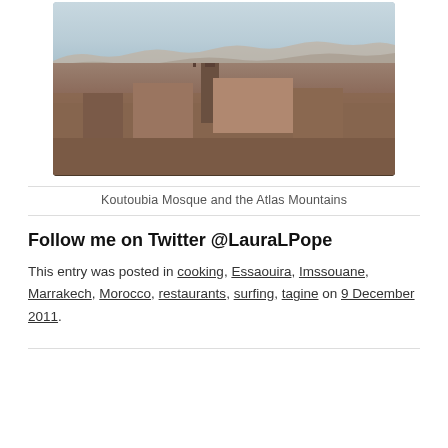[Figure (photo): Photograph of Koutoubia Mosque and the Atlas Mountains in Marrakech, showing mosque minaret, rooftops, palm trees, and snow-capped mountains in background at dusk]
Koutoubia Mosque and the Atlas Mountains
Follow me on Twitter @LauraLPope
This entry was posted in cooking, Essaouira, Imssouane, Marrakech, Morocco, restaurants, surfing, tagine on 9 December 2011.